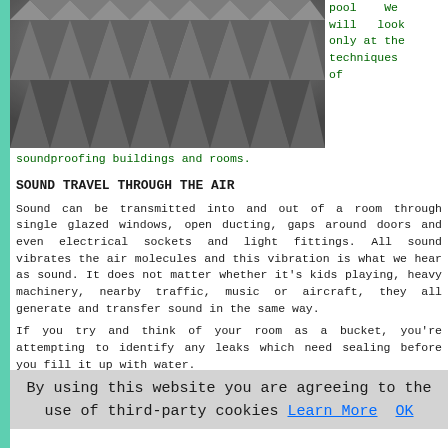[Figure (photo): Close-up photograph of grey acoustic foam panels with jagged pyramid-like surface texture.]
pool   We will  look only at the techniques of soundproofing buildings and rooms.
SOUND TRAVEL THROUGH THE AIR
Sound can be transmitted into and out of a room through single glazed windows, open ducting, gaps around doors and even electrical sockets and light fittings. All sound vibrates the air molecules and this vibration is what we hear as sound. It does not matter whether it's kids playing, heavy machinery, nearby traffic, music or aircraft, they all generate and transfer sound in the same way.
If you try and think of your room as a bucket, you're attempting to identify any leaks which need sealing before you fill it up with water.
SOUND THROUGH OBJECTS AND STRUCTURES
We now understand that sound is merely the vibration of air
By using this website you are agreeing to the use of third-party cookies Learn More  OK